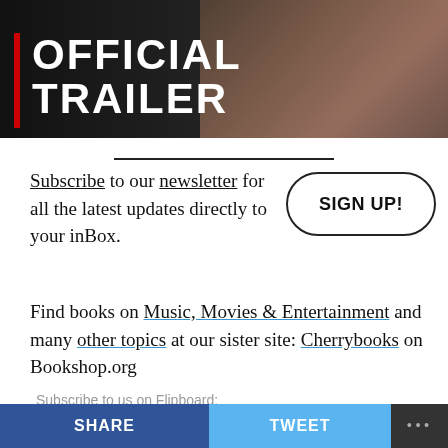[Figure (screenshot): Movie trailer banner image showing text 'OFFICIAL TRAILER' in bold white uppercase letters on dark background with man's face partially visible]
Subscribe to our newsletter for all the latest updates directly to your inBox.
[Figure (other): SIGN UP! button with rounded pill border]
Find books on Music, Movies & Entertainment and many other topics at our sister site: Cherrybooks on Bookshop.org
Subscribe to us on Flipboard:
[Figure (logo): Flipboard logo: red square icon with white F shape and FLIPBOARD wordmark in black bold sans-serif]
Enjoy Lynxotic at Apple News on your iPhone, iPad or
SHARE   TWEET   ...